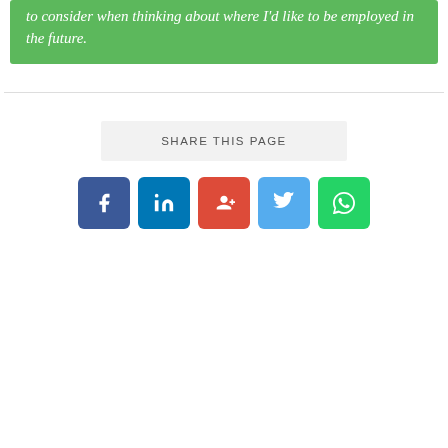to consider when thinking about where I'd like to be employed in the future.
SHARE THIS PAGE
[Figure (infographic): Row of five social media share buttons: Facebook (blue), LinkedIn (blue), Google+ (red), Twitter (light blue), WhatsApp (green)]